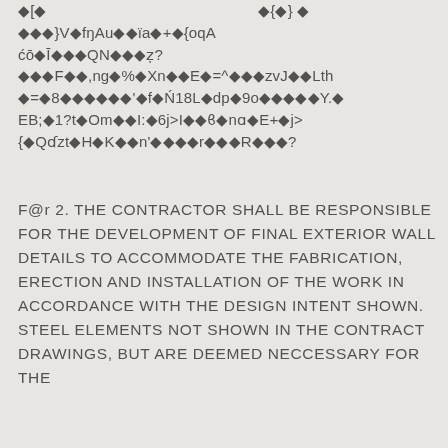◆◆◆}V◆fŋAu◆◆ïa◆+◆{oqA ćō◆Ī◆◆◆QN◆◆◆ẓ? ◆◆◆F◆◆,ng◆%◆Xn◆◆E◆=^◆◆◆zvJ◆◆Lth ◆=◆8◆◆◆◆◆◆'◆f◆Ń18L◆dp◆9o◆◆◆◆◆Y.◆ EB;◆1?t◆Om◆◆I:◆6j>I◆◆ϐ◆nɑ◆E+◆j> {◆Qɗzt◆H◆K◆◆n'◆◆◆◆r◆◆◆R◆◆◆?
F@r 2. THE CONTRACTOR SHALL BE RESPONSIBLE FOR THE DEVELOPMENT OF FINAL EXTERIOR WALL DETAILS TO ACCOMMODATE THE FABRICATION, ERECTION AND INSTALLATION OF THE WORK IN ACCORDANCE WITH THE DESIGN INTENT SHOWN. STEEL ELEMENTS NOT SHOWN IN THE CONTRACT DRAWINGS, BUT ARE DEEMED NECCESSARY FOR THE